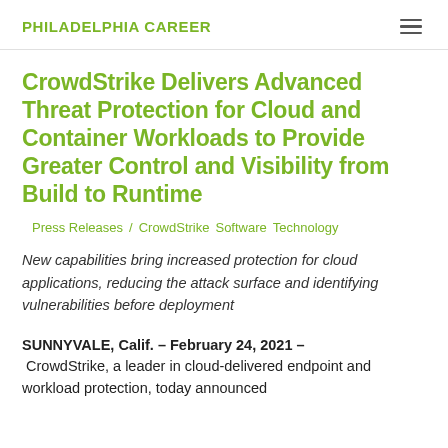PHILADELPHIA CAREER
CrowdStrike Delivers Advanced Threat Protection for Cloud and Container Workloads to Provide Greater Control and Visibility from Build to Runtime
Press Releases / CrowdStrike Software Technology
New capabilities bring increased protection for cloud applications, reducing the attack surface and identifying vulnerabilities before deployment
SUNNYVALE, Calif. – February 24, 2021 – CrowdStrike, a leader in cloud-delivered endpoint and workload protection, today announced